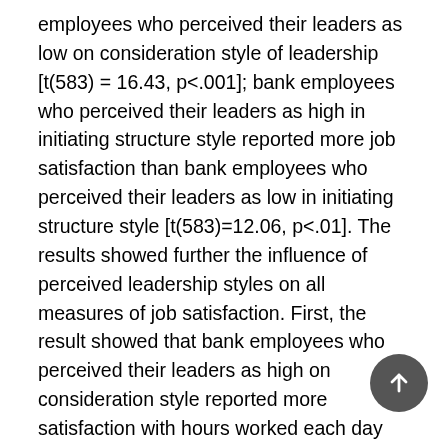employees who perceived their leaders as low on consideration style of leadership [t(583) = 16.43, p<.001]; bank employees who perceived their leaders as high in initiating structure style reported more job satisfaction than bank employees who perceived their leaders as low in initiating structure style [t(583)=12.06, p<.01]. The results showed further the influence of perceived leadership styles on all measures of job satisfaction. First, the result showed that bank employees who perceived their leaders as high on consideration style reported more satisfaction with hours worked each day than bank employees who perceived their leaders as low on consideration style [t(583) = 9.23, p<.01]. Second, the results revealed that bank employees who perceived their leaders as high on consideration style reported more satisfaction with flexibility in scheduling than bank employees who perceived their leaders as low on consideration style